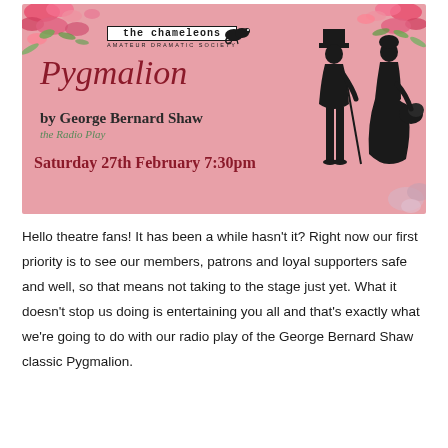[Figure (illustration): Promotional poster for 'Pygmalion' by George Bernard Shaw - the Radio Play, presented by The Chameleons Amateur Dramatic Society. Pink background with floral decorations, silhouettes of a Victorian gentleman and lady, styled script title, and date Saturday 27th February 7:30pm.]
Hello theatre fans! It has been a while hasn't it? Right now our first priority is to see our members, patrons and loyal supporters safe and well, so that means not taking to the stage just yet. What it doesn't stop us doing is entertaining you all and that's exactly what we're going to do with our radio play of the George Bernard Shaw classic Pygmalion.